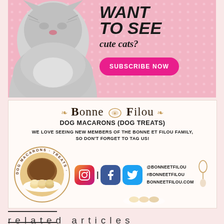[Figure (illustration): Pink polka-dot ad banner showing a grey fluffy cat on the left, with bold text 'WANT TO SEE cute cats?' and a hot-pink 'SUBSCRIBE NOW' button on the right.]
[Figure (illustration): Bonne Filou dog macarons advertisement with logo, subtitle 'DOG MACARONS (DOG TREATS)', tagline about tagging, a circular product image, and social media icons for Instagram, Facebook, Twitter with handles @BONNEETFILOU #BONNEETFILOU BONNEETFILOU.COM]
related articles